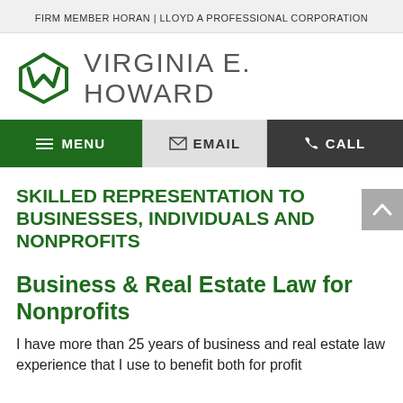FIRM MEMBER HORAN | LLOYD A PROFESSIONAL CORPORATION
[Figure (logo): Virginia E. Howard law firm logo with stylized W/V green chevron icon and text VIRGINIA E. HOWARD]
MENU  EMAIL  CALL
SKILLED REPRESENTATION TO BUSINESSES, INDIVIDUALS AND NONPROFITS
Business & Real Estate Law for Nonprofits
I have more than 25 years of business and real estate law experience that I use to benefit both for profit